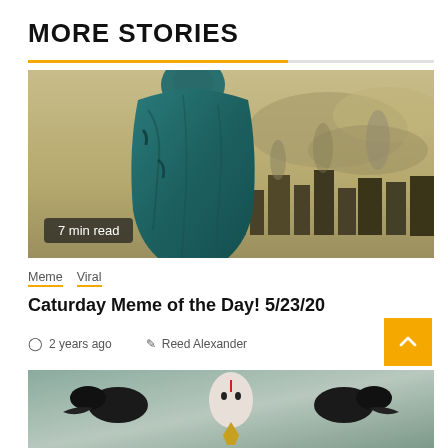MORE STORIES
[Figure (photo): Dystopian photo of a figure draped in teal fabric against a smoggy city skyline background]
7 min read
Meme  Viral
Caturday Meme of the Day! 5/23/20
2 years ago   Reed Alexander
[Figure (photo): Artistic illustration of a pale face with black birds and decorative elements, partially visible at bottom]